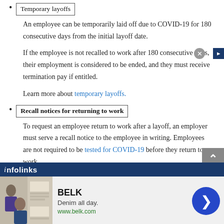Temporary layoffs
An employee can be temporarily laid off due to COVID-19 for 180 consecutive days from the initial layoff date.
If the employee is not recalled to work after 180 consecutive days, their employment is considered to be ended, and they must receive termination pay if entitled.
Learn more about temporary layoffs.
Recall notices for returning to work
To request an employee return to work after a layoff, an employer must serve a recall notice to the employee in writing. Employees are not required to be tested for COVID-19 before they return to work.